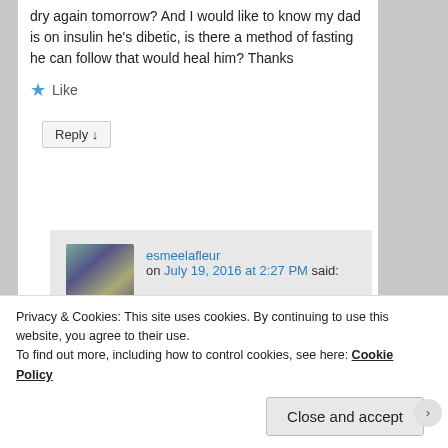dry again tomorrow? And I would like to know my dad is on insulin he's dibetic, is there a method of fasting he can follow that would heal him? Thanks
★ Like
Reply ↓
esmeelafleur on July 19, 2016 at 2:27 PM said:
Did you drink water before having the juice? You are supposed to drink 2 quarts of water before and other food or drink.
Privacy & Cookies: This site uses cookies. By continuing to use this website, you agree to their use.
To find out more, including how to control cookies, see here: Cookie Policy
Close and accept